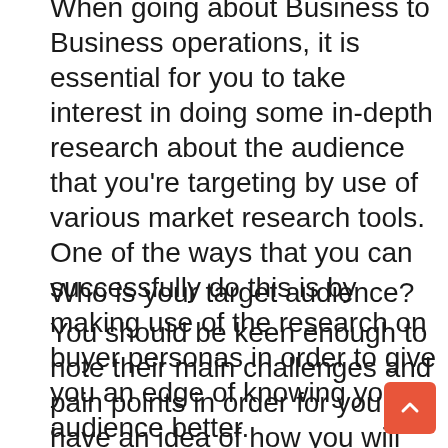When going about Business to Business operations, it is essential for you to take interest in doing some in-depth research about the audience that you're targeting by use of various market research tools. One of the ways that you can successfully do this is by making use of the research on buyer personas in order to give you an edge of knowing your audience better.
Who is your target audience?
You should be keen enough to note their main challenges and pain points in order for you to have an idea of how you will tailor your emails for lead generation. In addition to this, you should also analyze the language that your target audience uses on most occasions. This will enable you to effortlessly shape your email